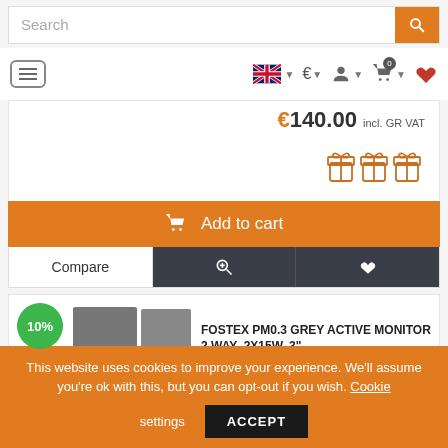[Figure (screenshot): Search bar with orange search button]
[Figure (screenshot): Navigation bar with hamburger menu, UK flag, euro symbol, user icon, cart icon with badge 0, and heart icon]
€140.00 incl. GR VAT
[Figure (illustration): Three gift/present icons in orange outline style]
Add to cart
Compare
FOSTEX  PM0.3 GREY ACTIVE MONITOR 2 WAY ,2X15W, 3"
This website uses cookies to improve your experience. We'll assume you're ok with this, but you can opt-out if you wish. Cookie settings ACCEPT